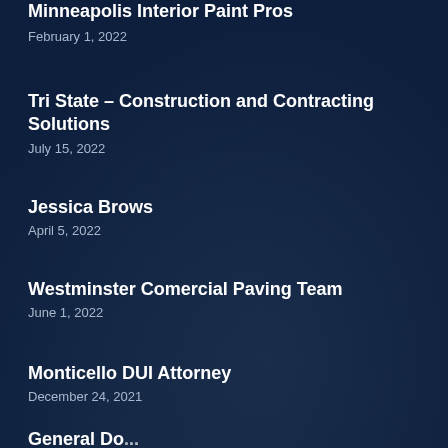Minneapolis Interior Paint Pros
February 1, 2022
Tri State – Construction and Contracting Solutions
July 15, 2022
Jessica Brows
April 5, 2022
Westminster Comercial Paving Team
June 1, 2022
Monticello DUI Attorney
December 24, 2021
General Docu...